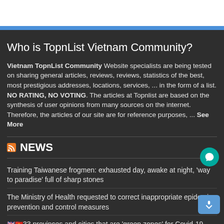Who is TopnList Vietnam Community?
Vietnam TopnList Community Website specialists are being tested on sharing general articles, reviews, reviews, statistics of the best, most prestigious addresses, locations, services, ... in the form of a list. NO RATING, NO VOTING. The articles at Topnlist are based on the synthesis of user opinions from many sources on the internet. Therefore, the articles of our site are for reference purposes, ... See More
NEWS
Training Taiwanese frogmen: exhausted day, awake at night, 'way to paradise' full of sharp stones
The Ministry of Health requested to correct inappropriate epidemic prevention and control measures
There are 33 provinces and cities that are 'green zones' for Covid-19